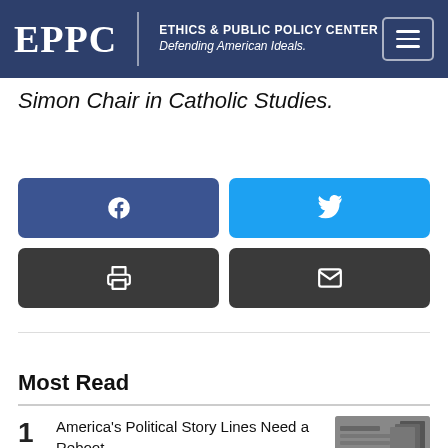EPPC | ETHICS & PUBLIC POLICY CENTER Defending American Ideals.
Simon Chair in Catholic Studies.
[Figure (infographic): Social share buttons: Facebook (blue), Twitter (cyan), Print (dark gray), Email (dark gray)]
Most Read
1 America's Political Story Lines Need a Reboot LANCE MORROW